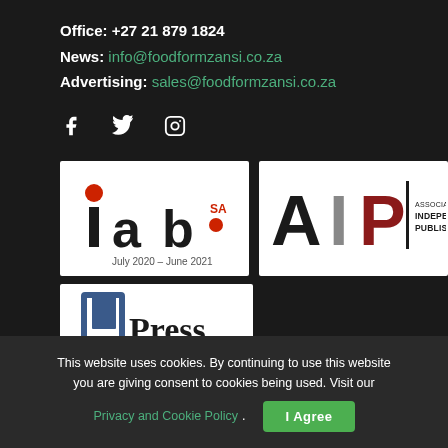Office: +27 21 879 1824
News: info@foodformzansi.co.za
Advertising: sales@foodformzansi.co.za
[Figure (other): Social media icons: Facebook, Twitter, Instagram]
[Figure (logo): IAB SA logo with text 'July 2020 - June 2021']
[Figure (logo): AIP - Association of Independent Publishers logo]
[Figure (logo): Press logo (partially visible)]
This website uses cookies. By continuing to use this website you are giving consent to cookies being used. Visit our Privacy and Cookie Policy. I Agree